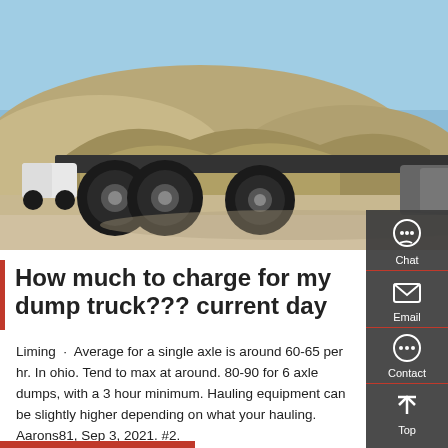[Figure (photo): A heavy-duty semi-truck/dump truck chassis (silver cab, large tires, no dump bed) parked on a gravel lot with hills in the background under a blue sky.]
How much to charge for my dump truck??? current day
Liming · Average for a single axle is around 60-65 per hr. In ohio. Tend to max at around. 80-90 for 6 axle dumps, with a 3 hour minimum. Hauling equipment can be slightly higher depending on what your hauling. Aarons81, Sep 3, 2021. #2.